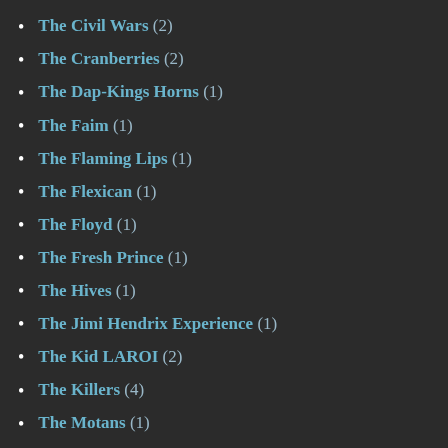The Civil Wars (2)
The Cranberries (2)
The Dap-Kings Horns (1)
The Faim (1)
The Flaming Lips (1)
The Flexican (1)
The Floyd (1)
The Fresh Prince (1)
The Hives (1)
The Jimi Hendrix Experience (1)
The Kid LAROI (2)
The Killers (4)
The Motans (1)
The Notorious B.I.G. (6)
The Outfield (1)
The Outlawz (1)